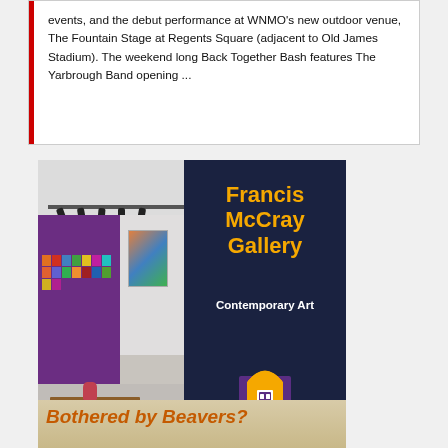events, and the debut performance at WNMO's new outdoor venue, The Fountain Stage at Regents Square (adjacent to Old James Stadium). The weekend long Back Together Bash features The Yarbrough Band opening ...
[Figure (photo): Advertisement for Francis McCray Gallery at Western New Mexico University. Left side shows a photo of the gallery interior with purple walls, colorful artworks, track lighting, and a wooden bench. Right side is dark navy with gold text reading 'Francis McCray Gallery', white text 'Contemporary Art', and the Western New Mexico University logo.]
[Figure (photo): Partial advertisement with orange italic bold text reading 'Bothered by Beavers?' on a light background showing what appears to be an outdoor/nature scene.]